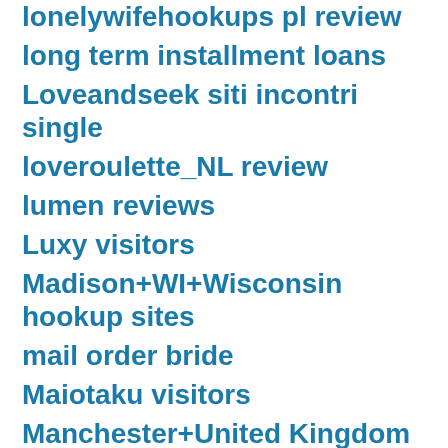lonelywifehookups pl review
long term installment loans
Loveandseek siti incontri single
loveroulette_NL review
lumen reviews
Luxy visitors
Madison+WI+Wisconsin hookup sites
mail order bride
Maiotaku visitors
Manchester+United Kingdom hookup sites